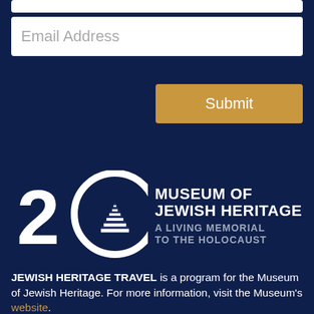Email Address
Submit
[Figure (logo): Museum of Jewish Heritage 20th anniversary logo — large '20' with circle containing a stepped pyramid/hexagon shape, beside bold text reading 'MUSEUM OF JEWISH HERITAGE A LIVING MEMORIAL TO THE HOLOCAUST']
JEWISH HERITAGE TRAVEL is a program for the Museum of Jewish Heritage. For more information, visit the Museum's website.